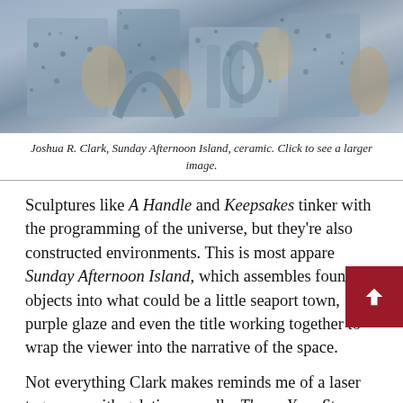[Figure (photo): Photograph of Joshua R. Clark ceramic sculpture 'Sunday Afternoon Island', showing textured blue-grey ceramic forms with sandy/tan exposed clay areas, resembling architectural or landscape elements.]
Joshua R. Clark, Sunday Afternoon Island, ceramic. Click to see a larger image.
Sculptures like A Handle and Keepsakes tinker with the programming of the universe, but they're also constructed environments. This is most apparent in Sunday Afternoon Island, which assembles found objects into what could be a little seaport town, purple glaze and even the title working together to wrap the viewer into the narrative of the space.
Not everything Clark makes reminds me of a laser tag arena with gelatinous walls. Throw Your Stone has